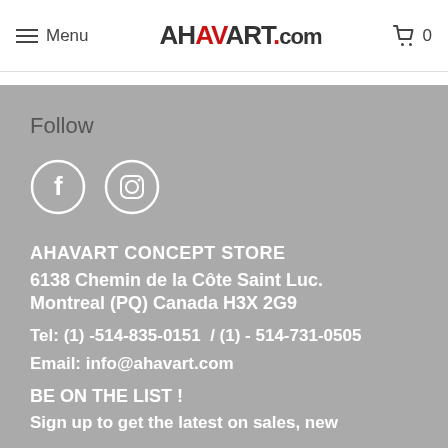Menu | AHAVART.com | 0
Follow
[Figure (illustration): Facebook and Instagram social media icons as white circle outlines with white symbols inside, on grey background]
AHAVART CONCEPT STORE
6138 Chemin de la Côte Saint Luc.
Montreal (PQ) Canada H3X 2G9
Tel: (1) -514-835-0151  / (1) - 514-731-0505
Email: info@ahavart.com
BE ON THE LIST !
Sign up to get the latest on sales, new